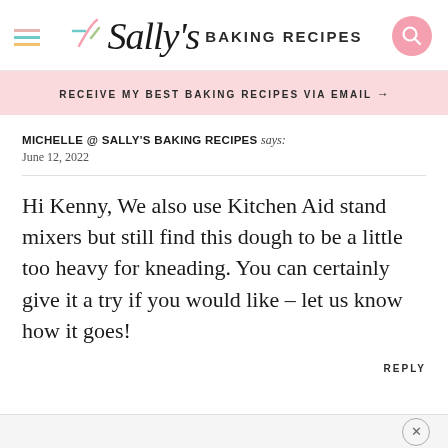Sally's BAKING RECIPES
RECEIVE MY BEST BAKING RECIPES VIA EMAIL →
MICHELLE @ SALLY'S BAKING RECIPES says:
June 12, 2022
Hi Kenny, We also use Kitchen Aid stand mixers but still find this dough to be a little too heavy for kneading. You can certainly give it a try if you would like – let us know how it goes!
REPLY